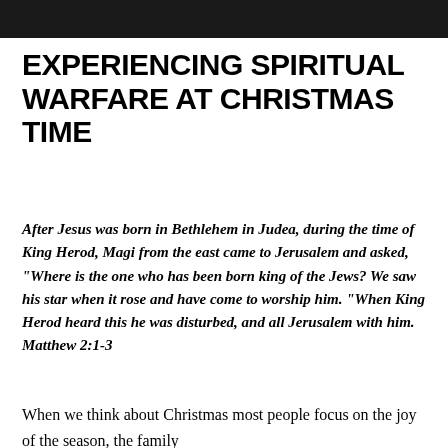[Figure (photo): Dark/black header image banner at the top of the page]
EXPERIENCING SPIRITUAL WARFARE AT CHRISTMAS TIME
After Jesus was born in Bethlehem in Judea, during the time of King Herod, Magi from the east came to Jerusalem and asked, “Where is the one who has been born king of the Jews? We saw his star when it rose and have come to worship him. “When King Herod heard this he was disturbed, and all Jerusalem with him. Matthew 2:1-3
When we think about Christmas most people focus on the joy of the season, the family